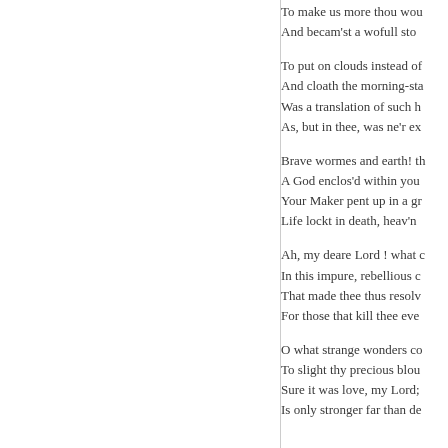To make us more thou wou...
And becam'st a wofull sto...

To put on clouds instead of...
And cloath the morning-sta...
Was a translation of such h...
As, but in thee, was ne'r ex...

Brave wormes and earth! t...
A God enclos'd within you...
Your Maker pent up in a gr...
Life lockt in death, heav'n...

Ah, my deare Lord ! what ...
In this impure, rebellious c...
That made thee thus resolv...
For those that kill thee eve...

O what strange wonders co...
To slight thy precious blou...
Sure it was love, my Lord;...
Is only stronger far than de...